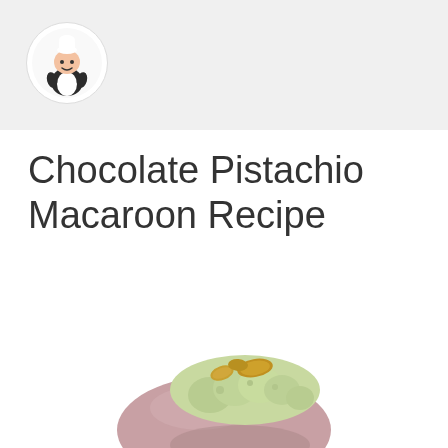[Figure (logo): Circular logo with a cartoon chef character on a light gray header background]
Chocolate Pistachio Macaroon Recipe
[Figure (photo): A chocolate macaron cookie with pistachio cream filling and pistachio buttercream piped on top, garnished with whole pistachios, on a white background]